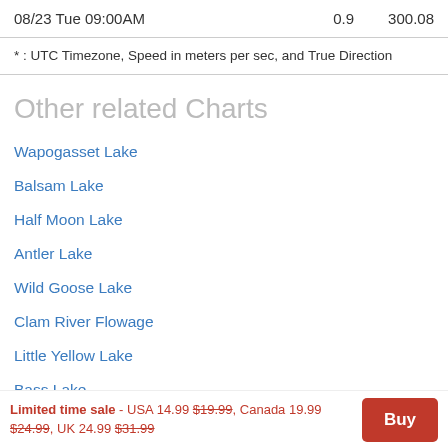| Date | Speed | Direction |
| --- | --- | --- |
| 08/23 Tue 09:00AM | 0.9 | 300.08 |
* : UTC Timezone, Speed in meters per sec, and True Direction
Other related Charts
Wapogasset Lake
Balsam Lake
Half Moon Lake
Antler Lake
Wild Goose Lake
Clam River Flowage
Little Yellow Lake
Bass Lake
Little Pine Lake
Limited time sale - USA 14.99 $19.99, Canada 19.99 $24.99, UK 24.99 $31.99